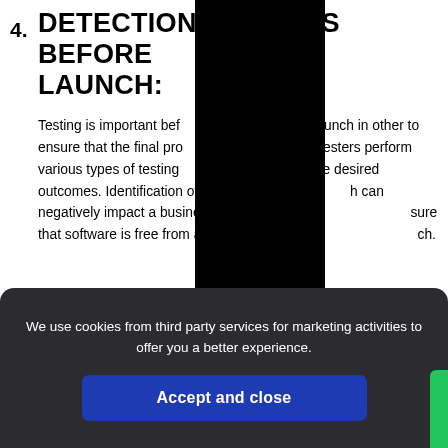4. DETECTION OF ERRORS BEFORE LAUNCH: Testing is important before a product launch in other to ensure that the final product is fine. Testers perform various types of testing to achieve desired outcomes. Identification of defects which can negatively impact a business. Thus, it is important to ensure that software is free from all defects before making a launch.
5. IT IS REQUIRED TO STAY IN BUSINESS
We use cookies from third party services for marketing activities to offer you a better experience.